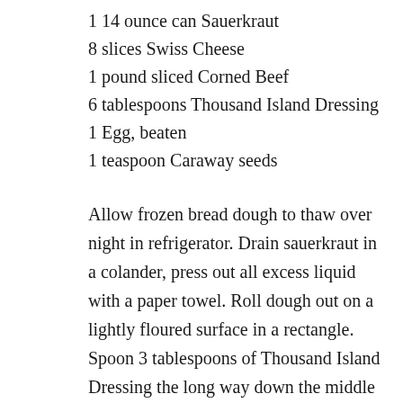1 14 ounce can Sauerkraut
8 slices Swiss Cheese
1 pound sliced Corned Beef
6 tablespoons Thousand Island Dressing
1 Egg, beaten
1 teaspoon Caraway seeds
Allow frozen bread dough to thaw over night in refrigerator. Drain sauerkraut in a colander, press out all excess liquid with a paper towel. Roll dough out on a lightly floured surface in a rectangle. Spoon 3 tablespoons of Thousand Island Dressing the long way down the middle of the dough. Place 4 slices of cheese on top of